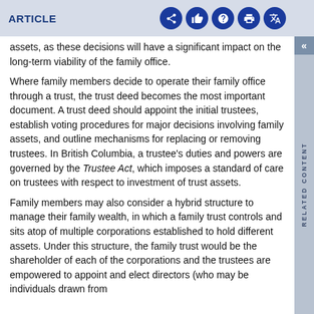ARTICLE
assets, as these decisions will have a significant impact on the long-term viability of the family office.
Where family members decide to operate their family office through a trust, the trust deed becomes the most important document. A trust deed should appoint the initial trustees, establish voting procedures for major decisions involving family assets, and outline mechanisms for replacing or removing trustees. In British Columbia, a trustee's duties and powers are governed by the Trustee Act, which imposes a standard of care on trustees with respect to investment of trust assets.
Family members may also consider a hybrid structure to manage their family wealth, in which a family trust controls and sits atop of multiple corporations established to hold different assets. Under this structure, the family trust would be the shareholder of each of the corporations and the trustees are empowered to appoint and elect directors (who may be individuals drawn from